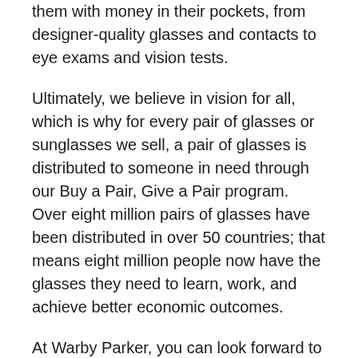them with money in their pockets, from designer-quality glasses and contacts to eye exams and vision tests.
Ultimately, we believe in vision for all, which is why for every pair of glasses or sunglasses we sell, a pair of glasses is distributed to someone in need through our Buy a Pair, Give a Pair program. Over eight million pairs of glasses have been distributed in over 50 countries; that means eight million people now have the glasses they need to learn, work, and achieve better economic outcomes.
At Warby Parker, you can look forward to company outings and events, volunteering and learning opportunities, and just great company filled with curious, kind folks. Dreaming up and sharing ideas aren't responsibilities reserved for certain teams or leaders; the challenge (a really fun one) of innovation is on all of our shoulders. Teammates can also connect